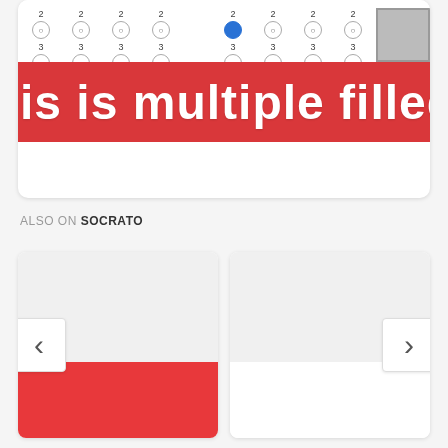[Figure (screenshot): A screenshot of a bubble answer sheet with multiple filled bubbles and a red banner overlay showing text 'is is multiple filled bubbl']
ALSO ON SOCRATO
[Figure (screenshot): Left sub-card preview thumbnail (blank/empty)]
[Figure (screenshot): Right sub-card preview thumbnail (blank/empty)]